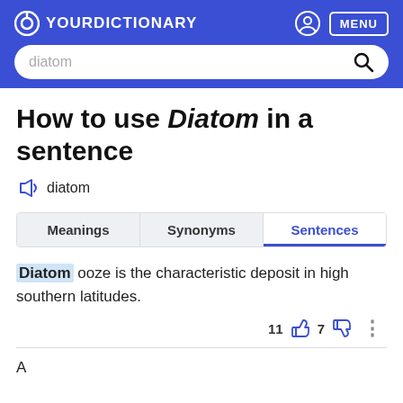YOUR DICTIONARY
How to use Diatom in a sentence
diatom
| Meanings | Synonyms | Sentences |
| --- | --- | --- |
Diatom ooze is the characteristic deposit in high southern latitudes.
11  7